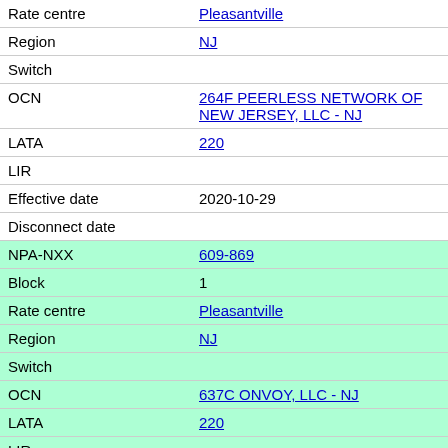| Field | Value |
| --- | --- |
| Rate centre | Pleasantville |
| Region | NJ |
| Switch |  |
| OCN | 264F PEERLESS NETWORK OF NEW JERSEY, LLC - NJ |
| LATA | 220 |
| LIR |  |
| Effective date | 2020-10-29 |
| Disconnect date |  |
| NPA-NXX | 609-869 |
| Block | 1 |
| Rate centre | Pleasantville |
| Region | NJ |
| Switch |  |
| OCN | 637C ONVOY, LLC - NJ |
| LATA | 220 |
| LIR |  |
| Effective date | 2019-11-01 |
| Disconnect date |  |
| NPA-NXX | 609-869 |
| Block | 2 |
| Rate centre | Pleasantville |